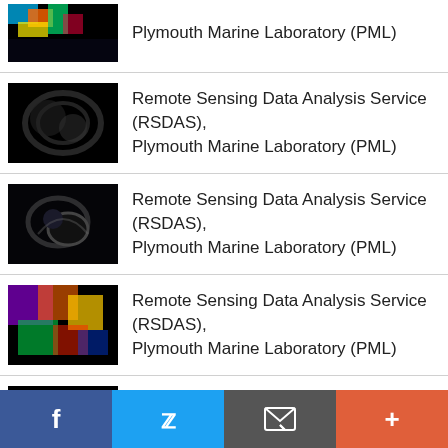Remote Sensing Data Analysis Service (RSDAS), Plymouth Marine Laboratory (PML)
Remote Sensing Data Analysis Service (RSDAS), Plymouth Marine Laboratory (PML)
Remote Sensing Data Analysis Service (RSDAS), Plymouth Marine Laboratory (PML)
Remote Sensing Data Analysis Service (RSDAS), Plymouth Marine Laboratory (PML)
Remote Sensing Data Analysis Service (RSDAS), Plymouth Marine Laboratory (PML)
Remote Sensing Data Analysis Service (RSDAS), Plymouth Marine Laboratory (PML)
Remote Sensing Data Analysis Service (RSDAS),